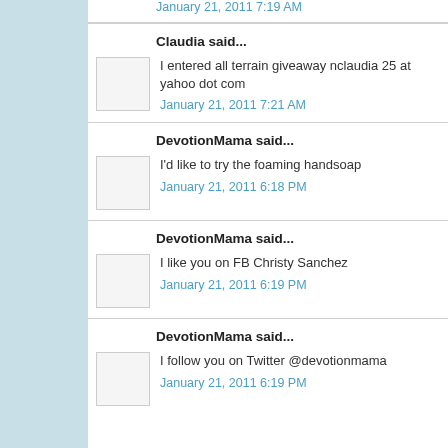January 21, 2011 7:19 AM
Claudia said...
I entered all terrain giveaway nclaudia 25 at yahoo dot com
January 21, 2011 7:21 AM
DevotionMama said...
I'd like to try the foaming handsoap
January 21, 2011 6:18 PM
DevotionMama said...
I like you on FB Christy Sanchez
January 21, 2011 6:19 PM
DevotionMama said...
I follow you on Twitter @devotionmama
January 21, 2011 6:19 PM